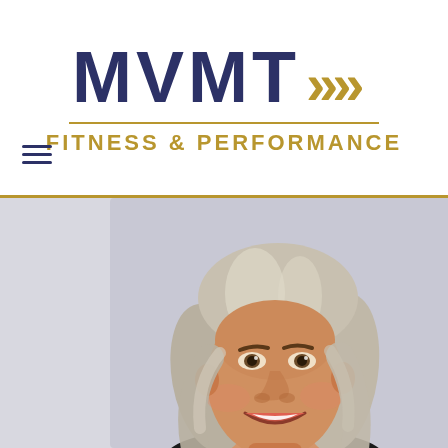[Figure (logo): MVMT Fitness & Performance logo with dark navy MVMT text and gold chevron arrows, gold horizontal line, and gold 'FITNESS & PERFORMANCE' subtitle text]
[Figure (photo): Headshot photo of a woman with short blonde/silver hair, smiling, wearing a dark top, against a light grey background]